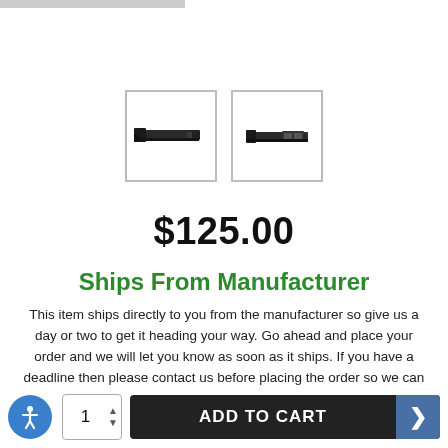[Figure (photo): Two product thumbnail images of a black metal bracket/slot adapter for a computer, shown from different angles, each in a bordered box.]
$125.00
Ships From Manufacturer
This item ships directly to you from the manufacturer so give us a day or two to get it heading your way. Go ahead and place your order and we will let you know as soon as it ships. If you have a deadline then please contact us before placing the order so we can meet your expectations.